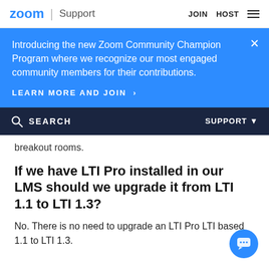zoom | Support   JOIN  HOST
Introducing the new Zoom Community Champion Program where we recognize our most engaged community members for their contributions.
LEARN MORE AND JOIN >
SEARCH   SUPPORT
breakout rooms.
If we have LTI Pro installed in our LMS should we upgrade it from LTI 1.1 to LTI 1.3?
No. There is no need to upgrade an LTI Pro LTI based 1.1 to LTI 1.3.